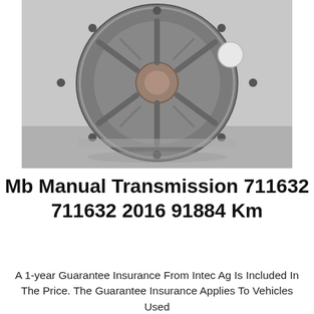[Figure (photo): Overhead view of a Mercedes-Benz manual transmission unit (part number 711632), showing the round metallic housing with internal components visible, placed on a reflective surface.]
Mb Manual Transmission 711632 711632 2016 91884 Km
A 1-year Guarantee Insurance From Intec Ag Is Included In The Price. The Guarantee Insurance Applies To Vehicles Used